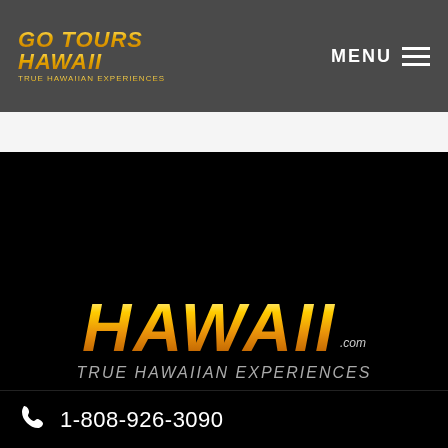[Figure (logo): Go Tours Hawaii small logo in header bar, gold metallic italic text on dark gray background]
MENU ≡
[Figure (logo): Large Go Tours Hawaii logo centered on black background with gold metallic gradient text. Tagline: TRUE HAWAIIAN EXPERIENCES]
1-808-926-3090